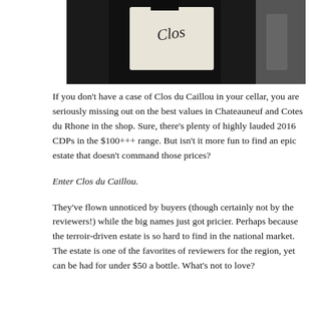[Figure (photo): Close-up photo of a dark wine bottle with a white label showing cursive text, partially visible against a dark background.]
If you don't have a case of Clos du Caillou in your cellar, you are seriously missing out on the best values in Chateauneuf and Cotes du Rhone in the shop. Sure, there's plenty of highly lauded 2016 CDPs in the $100+++ range. But isn't it more fun to find an epic estate that doesn't command those prices?
Enter Clos du Caillou.
They've flown unnoticed by buyers (though certainly not by the reviewers!) while the big names just got pricier. Perhaps because the terroir-driven estate is so hard to find in the national market. The estate is one of the favorites of reviewers for the region, yet can be had for under $50 a bottle. What's not to love?